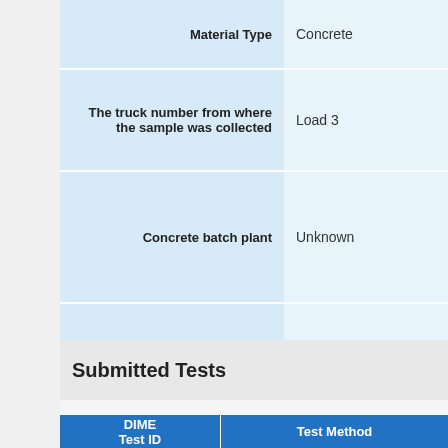| Field | Value |
| --- | --- |
| Material Type | Concrete |
| The truck number from where the sample was collected | Load 3 |
| Concrete batch plant | Unknown |
| A detailed description of where the material sample was collected | Abutment 11, Truck 20053 |
| From Lot No. | Unknown |
Submitted Tests
| DIME Test ID | Test Method |
| --- | --- |